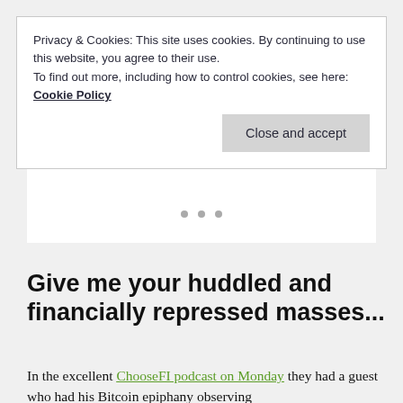Privacy & Cookies: This site uses cookies. By continuing to use this website, you agree to their use. To find out more, including how to control cookies, see here: Cookie Policy
Close and accept
Give me your huddled and financially repressed masses...
In the excellent ChooseFI podcast on Monday they had a guest who had his Bitcoin epiphany observing